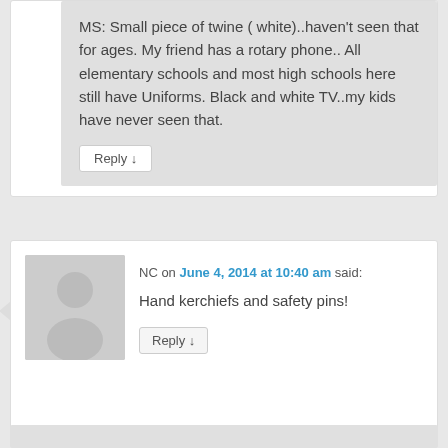MS: Small piece of twine ( white)..haven't seen that for ages. My friend has a rotary phone.. All elementary schools and most high schools here still have Uniforms. Black and white TV..my kids have never seen that.
Reply ↓
NC on June 4, 2014 at 10:40 am said:
Hand kerchiefs and safety pins!
Reply ↓